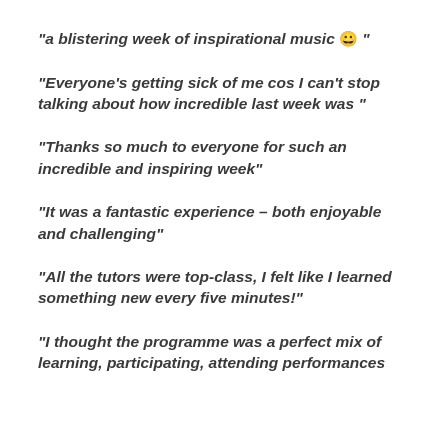"a blistering week of inspirational music 😀 "
"Everyone's getting sick of me cos I can't stop talking about how incredible last week was "
"Thanks so much to everyone for such an incredible and inspiring week"
"It was a fantastic experience – both enjoyable and challenging"
"All the tutors were top-class, I felt like I learned something new every five minutes!"
"I thought the programme was a perfect mix of learning, participating, attending performances